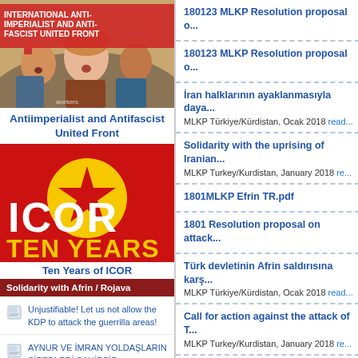[Figure (illustration): Painted illustration of protesters holding a banner reading 'International Anti-Imperialist and Anti-Fascist United Front']
Antiimperialist and Antifascist United Front
[Figure (logo): ICOR logo - red background with yellow circle containing red star, text 'ICOR TEN YEARS' in yellow and white]
Ten Years of ICOR
Solidarity with Afrin / Rojava
Unjustifiable! Let us not allow the KDP to attack the guerrilla areas!
AYNUR VE İMRAN YOLDAŞLARIN SİPERLERİ SAHİPSİZ KALMAYACAK!
180123 MLKP Resolution proposal o...
180123 MLKP Resolution proposal o...
İran halklarının ayaklanmasıyla daya...
MLKP Türkiye/Kürdistan, Ocak 2018 read...
Solidarity with the uprising of Iranian...
MLKP Turkey/Kurdistan, January 2018 re...
1801MLKP Efrin TR.pdf
1801 Resolution proposal on attack...
Türk devletinin Afrin saldırısına karş...
MLKP Türkiye/Kürdistan, Ocak 2018 read...
Call for action against the attack of T...
MLKP Turkey/Kurdistan, January 2018 re...
180123 MLPD Erklaerung Afrin en.p...
Stop the fascist offensive war of Tur...
MLPD (Marxist-Leninist Party of Germa...